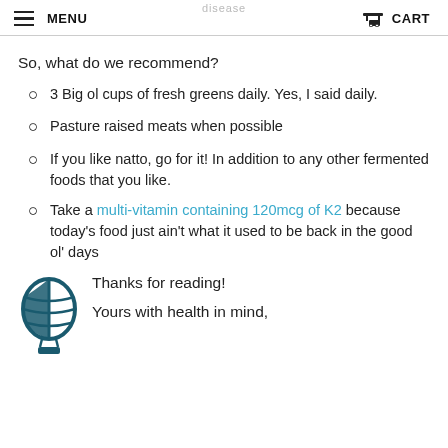MENU  CART
So, what do we recommend?
3 Big ol cups of fresh greens daily. Yes, I said daily.
Pasture raised meats when possible
If you like natto, go for it! In addition to any other fermented foods that you like.
Take a multi-vitamin containing 120mcg of K2 because today's food just ain't what it used to be back in the good ol' days
Thanks for reading!
[Figure (logo): Hot air balloon icon in dark teal]
Yours with health in mind,